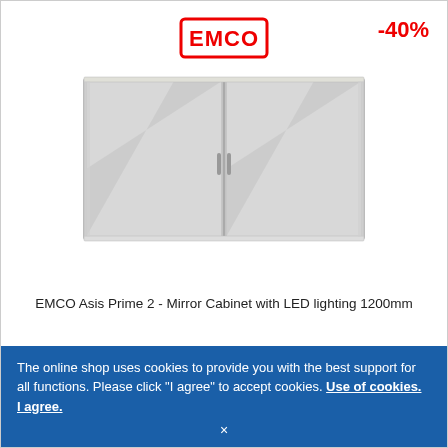[Figure (logo): EMCO brand logo in red rectangular border with bold red text]
-40%
[Figure (photo): EMCO Asis Prime 2 mirror cabinet with LED lighting, 1200mm, two-door mirrored surface with silver/stainless frame]
EMCO Asis Prime 2 - Mirror Cabinet with LED lighting 1200mm
€ 2,363.81*
€ 1,415.83
The online shop uses cookies to provide you with the best support for all functions. Please click "I agree" to accept cookies. Use of cookies.  I agree.